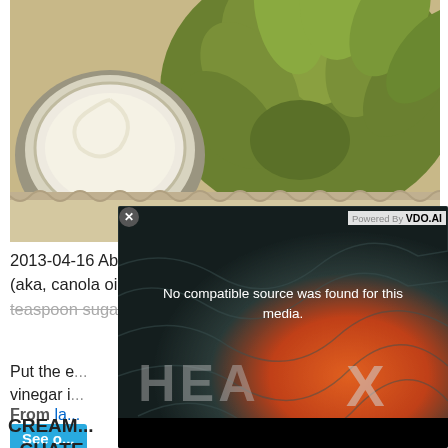[Figure (photo): Photo of artichoke with a bowl of dipping sauce (mayonnaise) on a lace cloth background]
2013-04-16 About ¾ cup (180 to 200 cc) rapeseed oil (aka, canola oil), at room temperature. Fine sea salt. ½ to teaspoon sugar or honey (optional). 1
Put the e... vinegar i...
From la...
See o...
[Figure (screenshot): Video player overlay showing 'No compatible source was found for this media.' with HEA X branding on dark topo-map background with red/orange gradient]
CREAM... - CHATE...